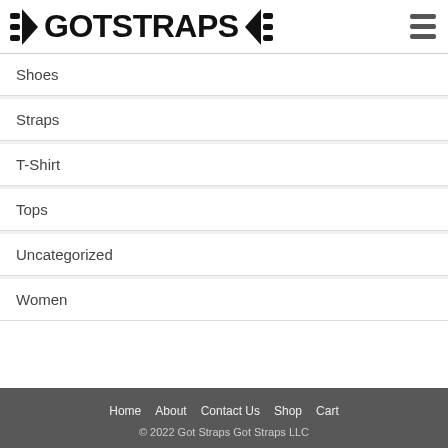GOTSTRAPS
Shoes
Straps
T-Shirt
Tops
Uncategorized
Women
Home   About   Contact Us   Shop   Cart
© 2022 Got Straps Got Straps LLC